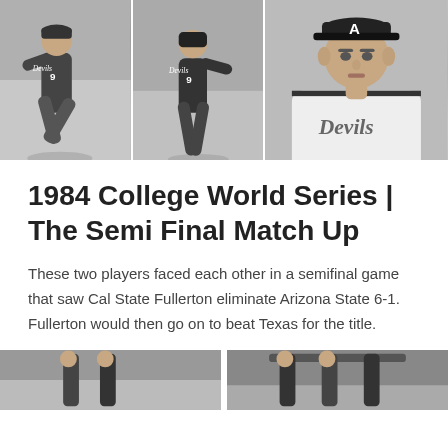[Figure (photo): Three black and white photos side by side of baseball players wearing Devils uniforms numbered 9.]
1984 College World Series | The Semi Final Match Up
These two players faced each other in a semifinal game that saw Cal State Fullerton eliminate Arizona State 6-1. Fullerton would then go on to beat Texas for the title.
[Figure (photo): Two black and white baseball photos at the bottom of the page.]